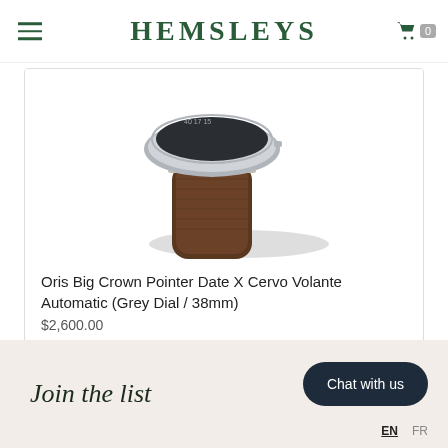HEMSLEYS
[Figure (photo): Partial view of an Oris watch showing the lower half of the watch case and brown leather strap on a white background with a subtle shadow.]
Oris Big Crown Pointer Date X Cervo Volante Automatic (Grey Dial / 38mm)
$2,600.00
Join the list
Chat with us
EN  FR